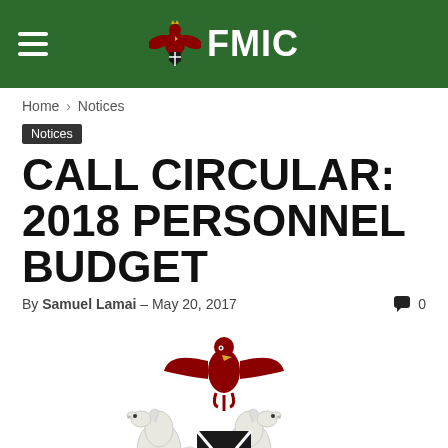FMIC
Home › Notices
Notices
CALL CIRCULAR: 2018 PERSONNEL BUDGET
By Samuel Lamai - May 20, 2017  0
[Figure (logo): Nigerian Federal Government Coat of Arms - eagle, horses, and shield]